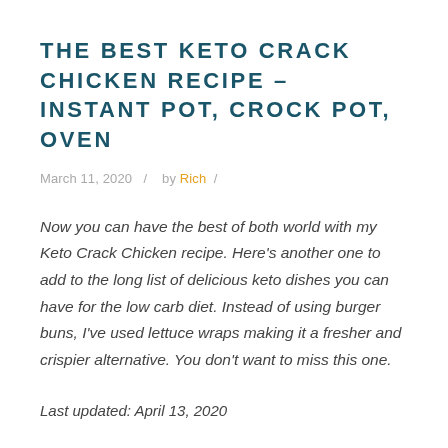THE BEST KETO CRACK CHICKEN RECIPE – INSTANT POT, CROCK POT, OVEN
March 11, 2020   /   by Rich   /
Now you can have the best of both world with my Keto Crack Chicken recipe. Here's another one to add to the long list of delicious keto dishes you can have for the low carb diet. Instead of using burger buns, I've used lettuce wraps making it a fresher and crispier alternative. You don't want to miss this one.
Last updated: April 13, 2020